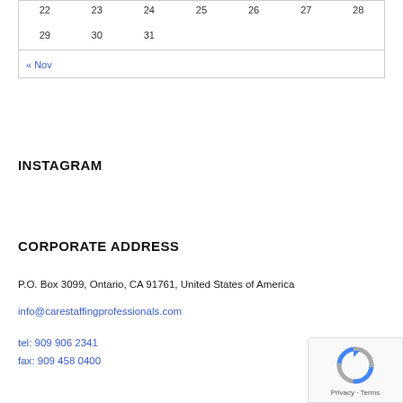| 22 | 23 | 24 | 25 | 26 | 27 | 28 |
| --- | --- | --- | --- | --- | --- | --- |
| 29 | 30 | 31 |  |  |  |  |
« Nov
INSTAGRAM
CORPORATE ADDRESS
P.O. Box 3099, Ontario, CA 91761, United States of America
info@carestaffingprofessionals.com
tel: 909 906 2341
fax: 909 458 0400